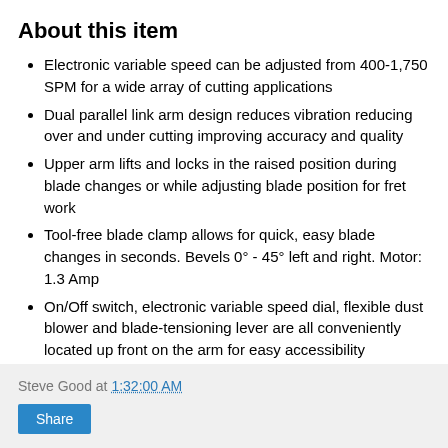About this item
Electronic variable speed can be adjusted from 400-1,750 SPM for a wide array of cutting applications
Dual parallel link arm design reduces vibration reducing over and under cutting improving accuracy and quality
Upper arm lifts and locks in the raised position during blade changes or while adjusting blade position for fret work
Tool-free blade clamp allows for quick, easy blade changes in seconds. Bevels 0° - 45° left and right. Motor: 1.3 Amp
On/Off switch, electronic variable speed dial, flexible dust blower and blade-tensioning lever are all conveniently located up front on the arm for easy accessibility
On-tool blade storage area provides neat, organized protection for scroll saw blades, includes 2 straight blades
Steve Good at 1:32:00 AM  Share